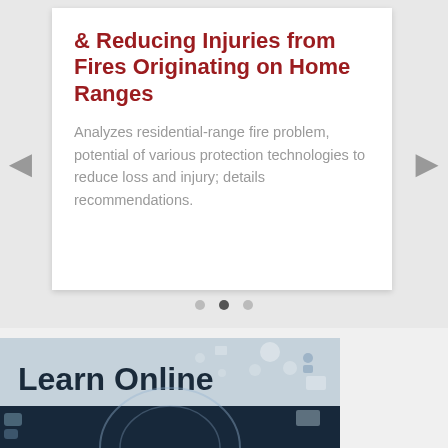& Reducing Injuries from Fires Originating on Home Ranges
Analyzes residential-range fire problem, potential of various protection technologies to reduce loss and injury; details recommendations.
[Figure (screenshot): Learn Online banner image showing text 'Learn Online' over a grey-blue background with tech icons, and a dark navy lower portion with a circular interface graphic]